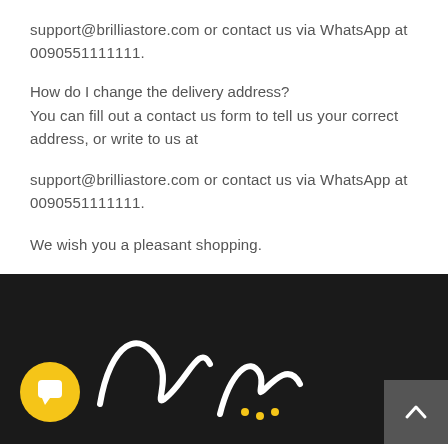support@brilliastore.com or contact us via WhatsApp at 0090551111111.
How do I change the delivery address?
You can fill out a contact us form to tell us your correct address, or write to us at
support@brilliastore.com or contact us via WhatsApp at 0090551111111.
We wish you a pleasant shopping.
[Figure (illustration): Dark footer section with Brillia store logo in white script on black background, a yellow circular chat button with speech bubble icon on the lower left, and a grey scroll-to-top button on the lower right.]